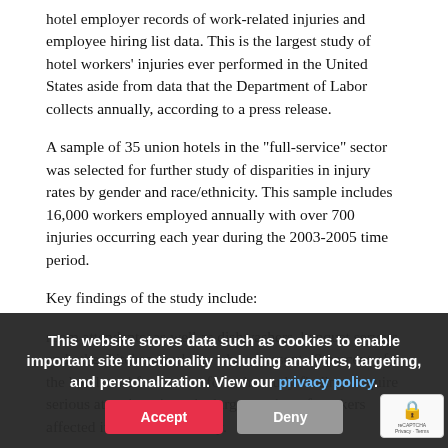hotel employer records of work-related injuries and employee hiring list data. This is the largest study of hotel workers' injuries ever performed in the United States aside from data that the Department of Labor collects annually, according to a press release.
A sample of 35 union hotels in the "full-service" sector was selected for further study of disparities in injury rates by gender and race/ethnicity. This sample includes 16,000 workers employed annually with over 700 injuries occurring each year during the 2003-2005 time period.
Key findings of the study include:
room attendants, as well as dishwashers, banquet servers and other kitchen workers, who represent 49 percent of the hotel workforce; therefore, the study findings require serious attention given the large number of workers affected in the hotel industry.